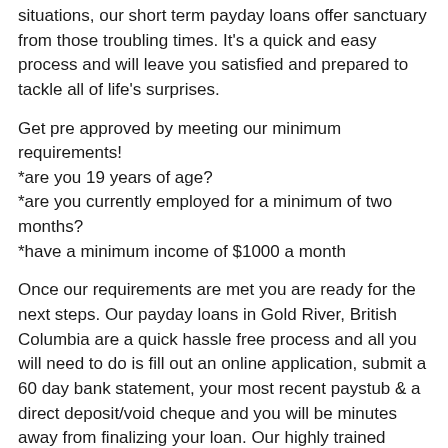situations, our short term payday loans offer sanctuary from those troubling times. It's a quick and easy process and will leave you satisfied and prepared to tackle all of life's surprises.
Get pre approved by meeting our minimum requirements!
*are you 19 years of age?
*are you currently employed for a minimum of two months?
*have a minimum income of $1000 a month
Once our requirements are met you are ready for the next steps. Our payday loans in Gold River, British Columbia are a quick hassle free process and all you will need to do is fill out an online application, submit a 60 day bank statement, your most recent paystub & a direct deposit/void cheque and you will be minutes away from finalizing your loan. Our highly trained customer service team will receive process and transfer your funds in the fastest and most convenient way for your needs.
We are open to any and all Gold River, British Columbia...